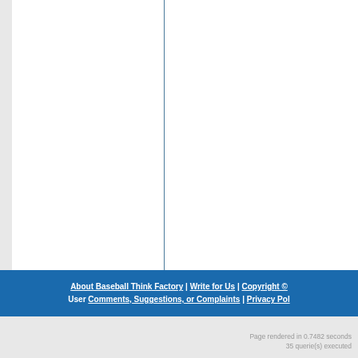About Baseball Think Factory | Write for Us | Copyright © | User Comments, Suggestions, or Complaints | Privacy Pol
Page rendered in 0.7482 seconds
35 querie(s) executed